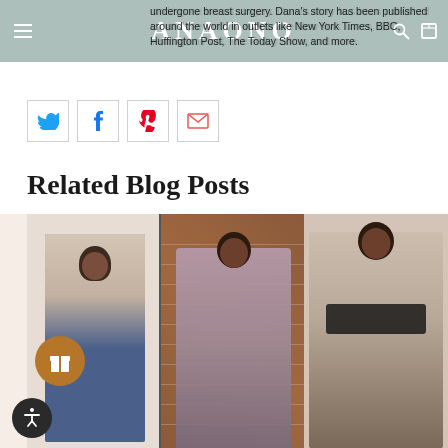ANAONO
undergone breast surgery. Dana's story has been published around the world in outlets like New York Times, BBC, Huffington Post, The Today Show, and more.
[Figure (screenshot): Social sharing icons: Twitter (blue bird), Facebook (blue f), Pinterest (red P), Email (red envelope)]
Related Blog Posts
[Figure (photo): Three blog post thumbnail images side by side: left shows a woman in a blue bralette with white cardigan and jeans; center shows a woman in a mauve dress against a brick wall; right shows a woman in a black bralette with arms raised]